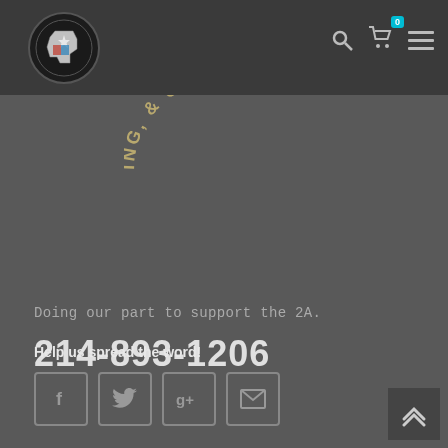[Figure (logo): Texas state outline logo with stars and stripes inside a circular badge, in top nav bar]
[Figure (illustration): Partial circular arc text reading 'ING, & OUTD' in gold/tan letters on dark background, top center of page below nav]
Doing our part to support the 2A.
214-893-1206
Help us spread the word!
[Figure (infographic): Social sharing icons: Facebook (f), Twitter (bird), Google+ (g+), Email (envelope), each in a rounded square border]